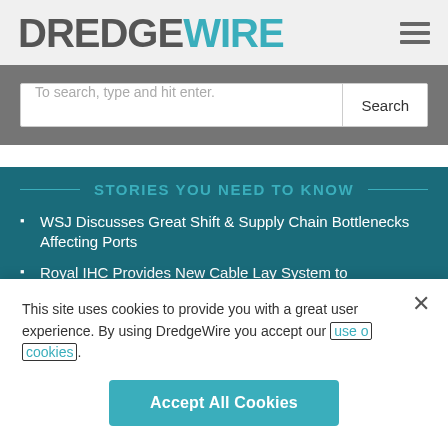DREDGEWIRE
To search, type and hit enter.
STORIES YOU NEED TO KNOW
WSJ Discusses Great Shift & Supply Chain Bottlenecks Affecting Ports
Royal IHC Provides New Cable Lay System to
This site uses cookies to provide you with a great user experience. By using DredgeWire you accept our use of cookies.
Accept All Cookies